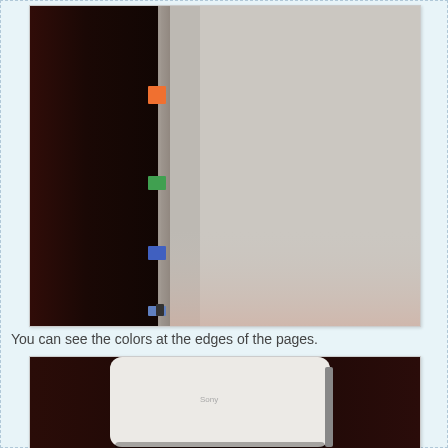[Figure (photo): Close-up photo of the spine/edge of a notebook or book showing colorful tabs at the page edges against a dark background. The pages appear light gray/white and the tabs are various colors including orange, green, blue.]
You can see the colors at the edges of the pages.
[Figure (photo): Close-up photo of the corner of a white notebook or book showing the rounded corner and spine, against a dark background.]